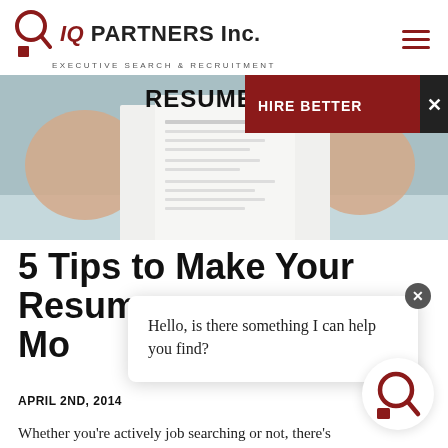IQ PARTNERS Inc. EXECUTIVE SEARCH & RECRUITMENT
[Figure (photo): Person holding a resume document, with 'RESUME' text visible in bold. A red banner overlay reads 'HIRE BETTER' with a close X button.]
5 Tips to Make Your Resume Mo...
Hello, is there something I can help you find?
APRIL 2ND, 2014
Whether you're actively job searching or not, there's